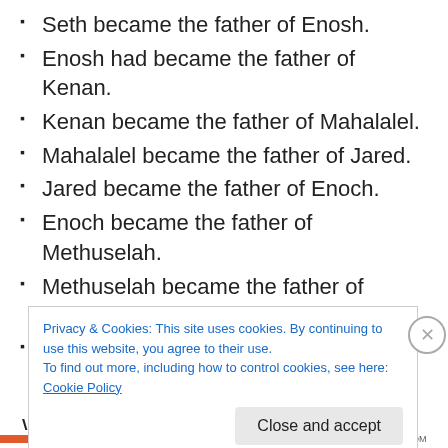Seth became the father of Enosh.
Enosh had became the father of Kenan.
Kenan became the father of Mahalalel.
Mahalalel became the father of Jared.
Jared became the father of Enoch.
Enoch became the father of Methuselah.
Methuselah became the father of Lamech.
Lamech had a son, he named him Noah
What we are going to do in this piece is translate the meaning of the ten names mentioned in the genealogy of
Privacy & Cookies: This site uses cookies. By continuing to use this website, you agree to their use.
To find out more, including how to control cookies, see here: Cookie Policy